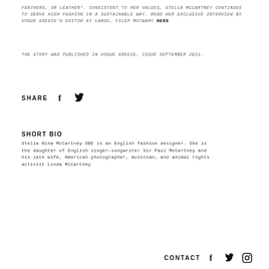FEATHERS, OR LEATHER*. CONSISTENT TO HER VALUES, STELLA MCCARTNEY CONTINUES TO SERVE HIGH FASHION IN A SUSTAINABLE WAY. READ HER EXCLUSIVE INTERVIEW BY VOGUE GREECE'S EDITOR AT LARGE, FILEP MOTWARY HERE
THE STORY WAS PUBLISHED IN VOGUE GREECE, ISSUE SEPTEMBER 2021.
SHARE
SHORT BIO
Stella Nina McCartney OBE is an English fashion designer. She is the daughter of English singer-songwriter Sir Paul McCartney and his late wife, American photographer, musician, and animal rights activist Linda McCartney
CONTACT